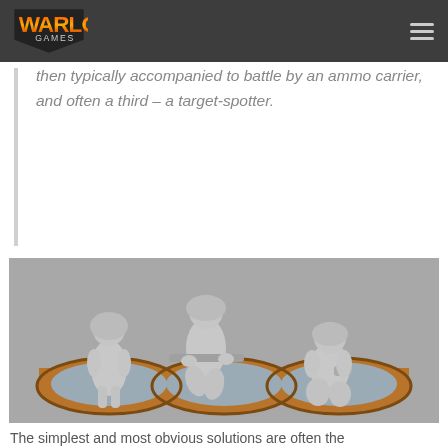Warlord Games
then typically accompanied to battle by an ammo carrier, and often a third – a target-spotter.
[Figure (photo): Three unpainted metal miniature figures (sniper team) mounted on circular bases held in a wooden multi-base holder shaped like three connected circles]
The simplest and most obvious solutions are often the